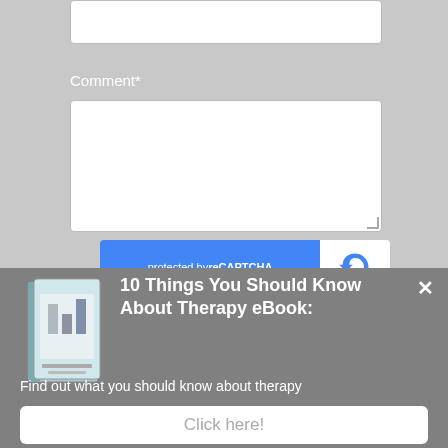Comment*
[Figure (screenshot): Web form with Comment label, text input boxes, and reCAPTCHA widget]
10 Things You Should Know About Therapy eBook:
Find out what you should know about therapy
Click here!